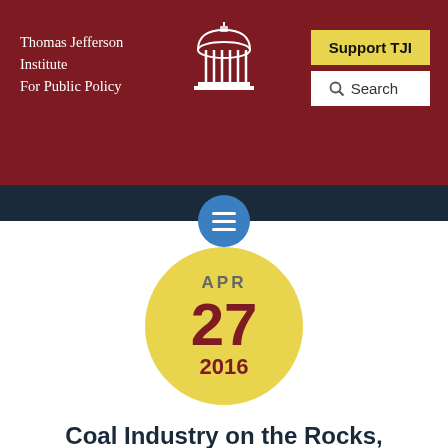Thomas Jefferson Institute For Public Policy
[Figure (logo): Rotunda building icon in white, centered in dark red header]
[Figure (other): Support TJI yellow button and Search box in top right of header]
[Figure (other): Blue hamburger menu circle on dark navy navigation bar]
[Figure (other): Yellow circle with date: APR 27 2016]
Coal Industry on the Rocks, Other Fossil Fuels Targeted
by Thomas Jefferson Institute Staff posted under Energy,